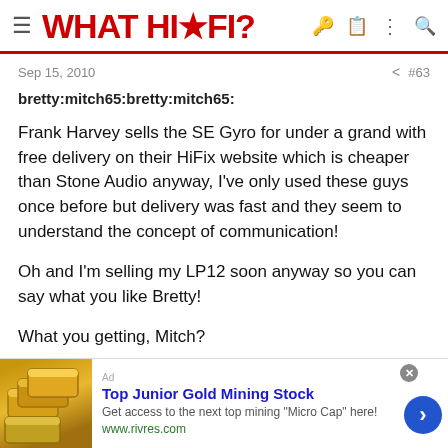WHAT HI·FI?
Sep 15, 2010  #63
bretty:mitch65:bretty:mitch65:
Frank Harvey sells the SE Gyro for under a grand with free delivery on their HiFix website which is cheaper than Stone Audio anyway, I've only used these guys once before but delivery was fast and they seem to understand the concept of communication!

Oh and I'm selling my LP12 soon anyway so you can say what you like Bretty!

What you getting, Mitch?

Oh Haven't quite got there yet, but I'm sure something will come
[Figure (infographic): Advertisement banner: Top Junior Gold Mining Stock. Get access to the next top mining 'Micro Cap' here! www.rivres.com]